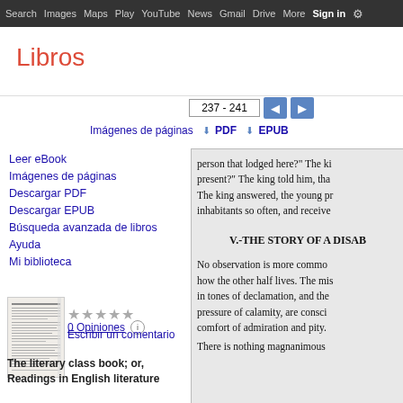Search  Images  Maps  Play  YouTube  News  Gmail  Drive  More  Sign in  (settings)
Libros
237 - 241
Imágenes de páginas   ⬇ PDF   ⬇ EPUB
Leer eBook
Imágenes de páginas
Descargar PDF
Descargar EPUB
Búsqueda avanzada de libros
Ayuda
Mi biblioteca
[Figure (photo): Book thumbnail showing table of contents page for 'The literary class book; or, Readings in English literature']
★★★★★
0 Opiniones  ⓘ
Escribir un comentario
The literary class book; or, Readings in English literature
[Figure (screenshot): Scanned book page showing text: 'person that lodged here?' The ki... present?' The king told him, tha... The king answered, the young pr... inhabitants so often, and receive... V.-THE STORY OF A DISAB... No observation is more commo... how the other half lives. The mis... in tones of declamation, and the... pressure of calamity, are consci... comfort of admiration and pity.  There is nothing magnanimous...]